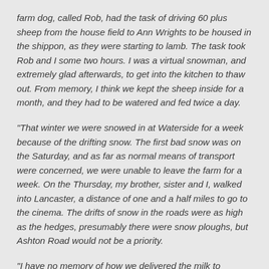farm dog, called Rob, had the task of driving 60 plus sheep from the house field to Ann Wrights to be housed in the shippon, as they were starting to lamb. The task took Rob and I some two hours. I was a virtual snowman, and extremely glad afterwards, to get into the kitchen to thaw out. From memory, I think we kept the sheep inside for a month, and they had to be watered and fed twice a day.
"That winter we were snowed in at Waterside for a week because of the drifting snow. The first bad snow was on the Saturday, and as far as normal means of transport were concerned, we were unable to leave the farm for a week. On the Thursday, my brother, sister and I, walked into Lancaster, a distance of one and a half miles to go to the cinema. The drifts of snow in the roads were as high as the hedges, presumably there were snow ploughs, but Ashton Road would not be a priority.
"I have no memory of how we delivered the milk to Lancaster during that snow bound week because at that time a Mr Longton was the ‘milk kitter’(distributor) who took our milk, for his customers in Lancaster. Normally Dad delivered the mornings milk to MR Longton’s shop/dairy in